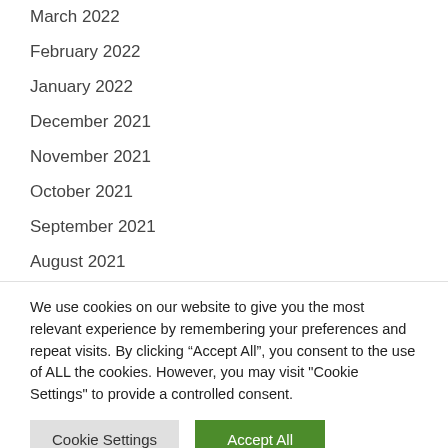March 2022
February 2022
January 2022
December 2021
November 2021
October 2021
September 2021
August 2021
July 2021
June 2021
We use cookies on our website to give you the most relevant experience by remembering your preferences and repeat visits. By clicking “Accept All”, you consent to the use of ALL the cookies. However, you may visit "Cookie Settings" to provide a controlled consent.
Cookie Settings | Accept All